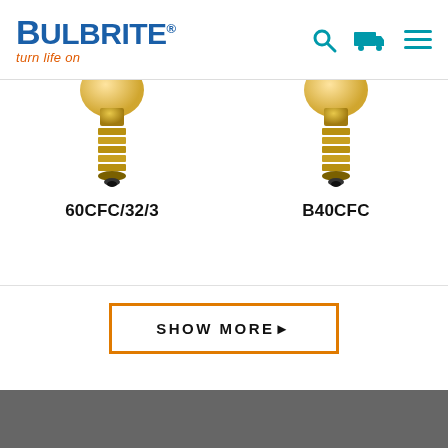[Figure (logo): Bulbrite logo with blue bold text and orange italic tagline 'turn life on']
[Figure (illustration): Partial bottom view of two incandescent light bulbs with gold E12 candelabra bases. Left bulb labeled 60CFC/32/3, right bulb labeled B40CFC.]
60CFC/32/3
B40CFC
SHOW MORE▶